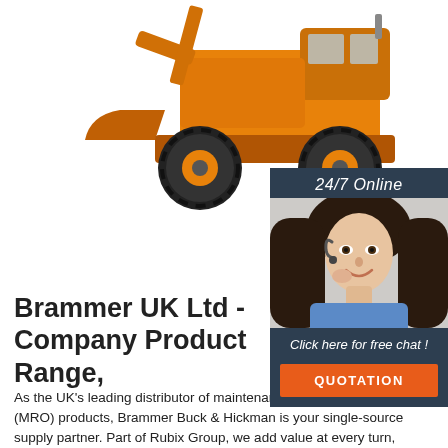[Figure (photo): Large yellow wheel loader / front-end loader construction vehicle photographed from front-right angle on white background]
[Figure (illustration): 24/7 Online chat widget panel with dark navy background showing '24/7 Online' text, a female customer service agent wearing a headset, 'Click here for free chat!' italic text, and an orange QUOTATION button]
Brammer UK Ltd - Company Product Range,
As the UK’s leading distributor of maintenance, repair and overhaul (MRO) products, Brammer Buck & Hickman is your single-source supply partner. Part of Rubix Group, we add value at every turn, helping to reduce working capital, increase production efficiency and reduce total acquisition costs. With branches right across the UK, our